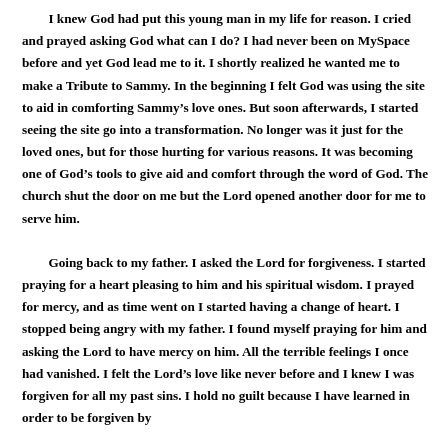I knew God had put this young man in my life for reason. I cried and prayed asking God what can I do? I had never been on MySpace before and yet God lead me to it. I shortly realized he wanted me to make a Tribute to Sammy. In the beginning I felt God was using the site to aid in comforting Sammy's love ones. But soon afterwards, I started seeing the site go into a transformation. No longer was it just for the loved ones, but for those hurting for various reasons. It was becoming one of God's tools to give aid and comfort through the word of God. The church shut the door on me but the Lord opened another door for me to serve him.

Going back to my father. I asked the Lord for forgiveness. I started praying for a heart pleasing to him and his spiritual wisdom. I prayed for mercy, and as time went on I started having a change of heart. I stopped being angry with my father. I found myself praying for him and asking the Lord to have mercy on him. All the terrible feelings I once had vanished. I felt the Lord's love like never before and I knew I was forgiven for all my past sins. I hold no guilt because I have learned in order to be forgiven by